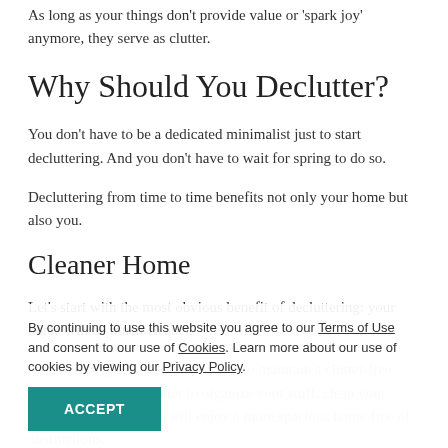As long as your things don't provide value or 'spark joy' anymore, they serve as clutter.
Why Should You Declutter?
You don't have to be a dedicated minimalist just to start decluttering. And you don't have to wait for spring to do so.
Decluttering from time to time benefits not only your home but also you.
Cleaner Home
Let's start with the most obvious benefit of decluttering: your home will be much cleaner.
By continuing to use this website you agree to our Terms of Use and consent to our use of Cookies. Learn more about our use of cookies by viewing our Privacy Policy.
ACCEPT
rgy and Savings